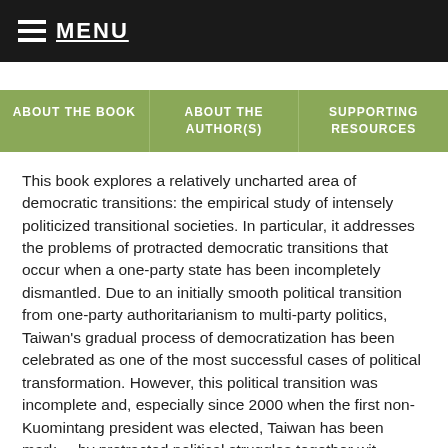MENU
| ABOUT THE BOOK | ABOUT THE AUTHOR(S) | SUPPORTING RESOURCES |
| --- | --- | --- |
This book explores a relatively uncharted area of democratic transitions: the empirical study of intensely politicized transitional societies. In particular, it addresses the problems of protracted democratic transitions that occur when a one-party state has been incompletely dismantled. Due to an initially smooth political transition from one-party authoritarianism to multi-party politics, Taiwan's gradual process of democratization has been celebrated as one of the most successful cases of political transformation. However, this political transition was incomplete and, especially since 2000 when the first non-Kuomintang president was elected, Taiwan has been marked by protracted political struggles together with intense politicization of society that threatens the